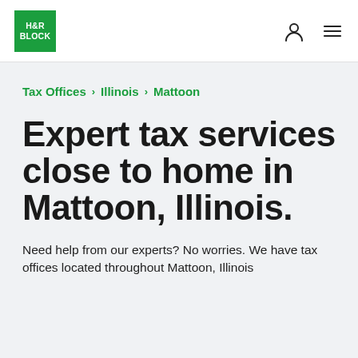[Figure (logo): H&R Block green square logo with white text]
H&R Block navigation header with person icon and hamburger menu
Tax Offices > Illinois > Mattoon
Expert tax services close to home in Mattoon, Illinois.
Need help from our experts? No worries. We have tax offices located throughout Mattoon, Illinois